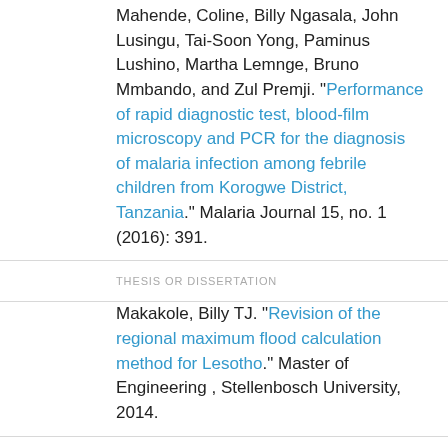Mahende, Coline, Billy Ngasala, John Lusingu, Tai-Soon Yong, Paminus Lushino, Martha Lemnge, Bruno Mmbando, and Zul Premji. "Performance of rapid diagnostic test, blood-film microscopy and PCR for the diagnosis of malaria infection among febrile children from Korogwe District, Tanzania." Malaria Journal 15, no. 1 (2016): 391.
THESIS OR DISSERTATION
Makakole, Billy TJ. "Revision of the regional maximum flood calculation method for Lesotho." Master of Engineering , Stellenbosch University, 2014.
BOOK SECTION
Malkin, Robert, and Billy Teninty. "Radiology in